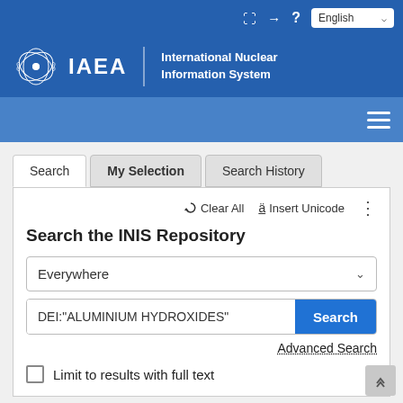[Figure (screenshot): IAEA International Nuclear Information System website screenshot showing search interface]
IAEA — International Nuclear Information System
Search   My Selection   Search History
Clear All   ä Insert Unicode
Search the INIS Repository
Everywhere
DEI:"ALUMINIUM HYDROXIDES"
Advanced Search
Limit to results with full text